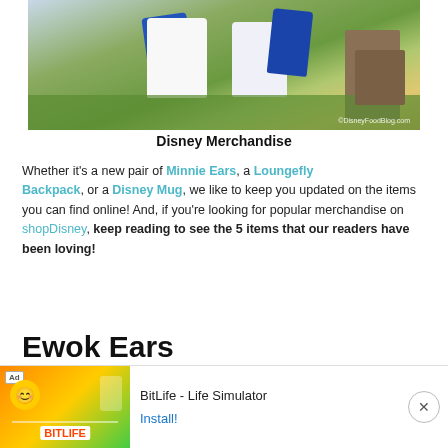[Figure (photo): Interior of a Disney merchandise store showing white and blue t-shirts hanging on display, with shelving and green carpet visible in the background. Watermark reads ©DisneyFoodBlog.com]
Disney Merchandise
Whether it's a new pair of Minnie Ears, a Loungefly Backpack, or a Disney Mug, we like to keep you updated on the items you can find online! And, if you're looking for popular merchandise on shopDisney, keep reading to see the 5 items that our readers have been loving!
Ewok Ears
[Figure (screenshot): Advertisement banner for BitLife - Life Simulator app, showing Ad badge, colorful graphics with smiley face and game elements, BitLife logo, app title, and Install! button]